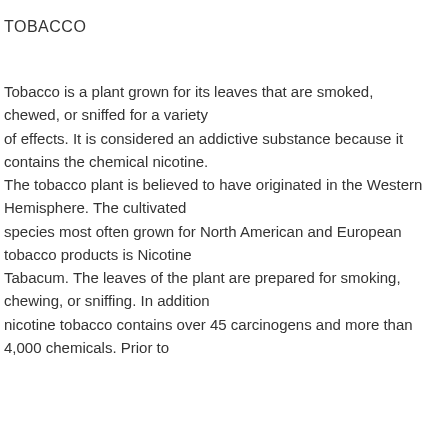TOBACCO
Tobacco is a plant grown for its leaves that are smoked, chewed, or sniffed for a variety of effects. It is considered an addictive substance because it contains the chemical nicotine. The tobacco plant is believed to have originated in the Western Hemisphere. The cultivated species most often grown for North American and European tobacco products is Nicotine Tabacum. The leaves of the plant are prepared for smoking, chewing, or sniffing. In addition nicotine tobacco contains over 45 carcinogens and more than 4,000 chemicals. Prior to